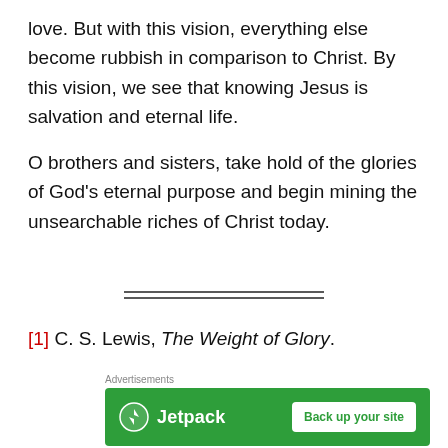love. But with this vision, everything else become rubbish in comparison to Christ. By this vision, we see that knowing Jesus is salvation and eternal life.
O brothers and sisters, take hold of the glories of God's eternal purpose and begin mining the unsearchable riches of Christ today.
[1] C. S. Lewis, The Weight of Glory.
[Figure (other): Jetpack advertisement banner with logo and 'Back up your site' button on green background]